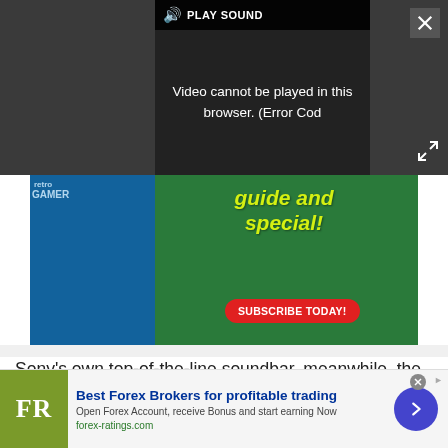[Figure (screenshot): Video player showing error overlay: speaker icon, PLAY SOUND label, and error message 'Video cannot be played in this browser. (Error Cod' on dark background, with close and expand buttons]
[Figure (screenshot): Magazine advertisement for Retro Gamer with green background, yellow handwritten-style text reading 'guide and special!' and a red SUBSCRIBE TODAY! button. School supplies and a Sonic magazine visible.]
Sony’s own top-of-the-line soundbar, meanwhile, the HT-A7000, is priced at a more modest £1199 / $1300 / AU$1699, with the additional surround SA-RS3S speakers an optional extra costing £449 / $350 /
[Figure (screenshot): Forex ratings advertisement banner: FR logo in olive/green square, 'Best Forex Brokers for profitable trading' in bold blue, subtitle text, forex-ratings.com URL, and a blue circular arrow button on right]